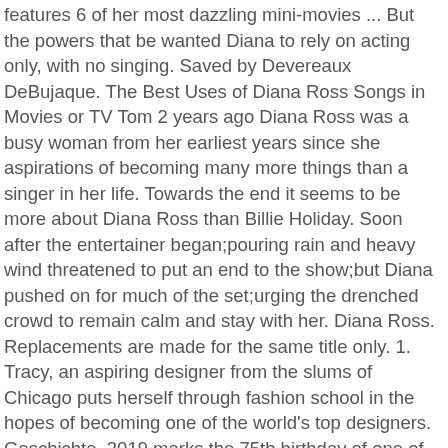features 6 of her most dazzling mini-movies ... But the powers that be wanted Diana to rely on acting only, with no singing. Saved by Devereaux DeBujaque. The Best Uses of Diana Ross Songs in Movies or TV Tom 2 years ago Diana Ross was a busy woman from her earliest years since she aspirations of becoming many more things than a singer in her life. Towards the end it seems to be more about Diana Ross than Billie Holiday. Soon after the entertainer began;pouring rain and heavy wind threatened to put an end to the show;but Diana pushed on for much of the set;urging the drenched crowd to remain calm and stay with her. Diana Ross. Replacements are made for the same title only. 1. Tracy, an aspiring designer from the slums of Chicago puts herself through fashion school in the hopes of becoming one of the world's top designers. Geschichte. 2019 marks the 75th birthday of one of the greatest entertainers of all time, Diana Ross. After being raised in housing projects for most of the late 1940s and early 1950s, Diana started singing in the gospel choir of a Baptist chu... The order of these top Diana Ross movies is decided by how many votes they receive, so only highly rated Diana Ross movies will be at the top of the list. Evan began his career in 2006 with a role in the movie ATL starring rappers T.I. Directed by Berry Gordy, Tony Richardson, Jack Wormser. You're